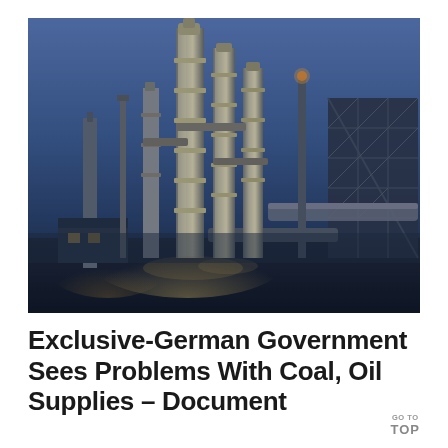[Figure (photo): Industrial oil refinery or chemical plant photographed at dusk/night, showing illuminated distillation towers, pipework, and industrial structures against a deep blue sky. The metallic towers are lit from below with warm yellow-white light contrasting with the dark blue background.]
Exclusive-German Government Sees Problems With Coal, Oil Supplies - Document